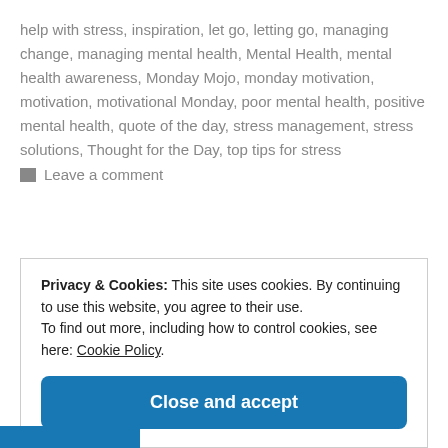help with stress, inspiration, let go, letting go, managing change, managing mental health, Mental Health, mental health awareness, Monday Mojo, monday motivation, motivation, motivational Monday, poor mental health, positive mental health, quote of the day, stress management, stress solutions, Thought for the Day, top tips for stress
Leave a comment
Privacy & Cookies: This site uses cookies. By continuing to use this website, you agree to their use. To find out more, including how to control cookies, see here: Cookie Policy.
Close and accept